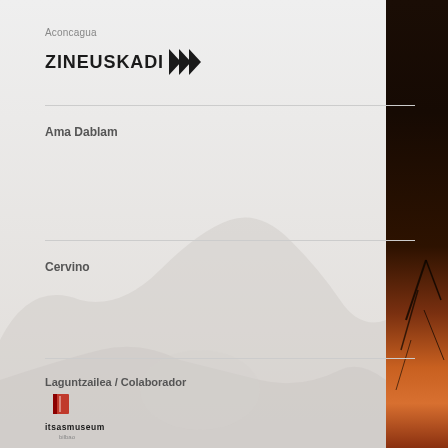Aconcagua
[Figure (logo): ZINEUSKADI logo with double chevron arrows]
Ama Dablam
Cervino
Laguntzailea / Colaborador
[Figure (logo): Itsasmuseum Bilbao logo with red book icon]
© Nit de Bruxes
[Figure (photo): Dark photo strip on the right showing desert/mountain sunset scene]